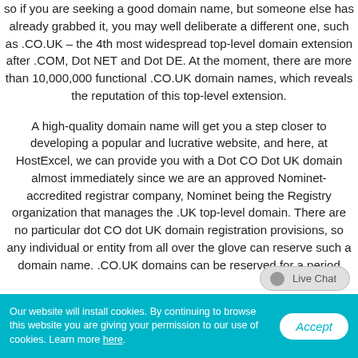so if you are seeking a good domain name, but someone else has already grabbed it, you may well deliberate a different one, such as .CO.UK – the 4th most widespread top-level domain extension after .COM, Dot NET and Dot DE. At the moment, there are more than 10,000,000 functional .CO.UK domain names, which reveals the reputation of this top-level extension.
A high-quality domain name will get you a step closer to developing a popular and lucrative website, and here, at HostExcel, we can provide you with a Dot CO Dot UK domain almost immediately since we are an approved Nominet-accredited registrar company, Nominet being the Registry organization that manages the .UK top-level domain. There are no particular dot CO dot UK domain registration provisions, so any individual or entity from all over the glove can reserve such a domain name. .CO.UK domains can be reserved for a period
Our website will install cookies. By continuing to browse this website you are giving your permission to our use of cookies. Learn more here.